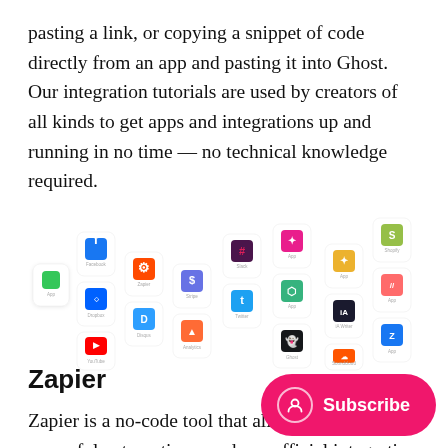pasting a link, or copying a snippet of code directly from an app and pasting it into Ghost. Our integration tutorials are used by creators of all kinds to get apps and integrations up and running in no time — no technical knowledge required.
[Figure (screenshot): A grid of app integration icons including Facebook, Discord, YouTube, Slack, Shopify, and many others shown as small app cards arranged in columns.]
Zapier
Zapier is a no-code tool that allows you to build powerful automations, and our official integration allows you to connect your Ghost site to more than 1 services.